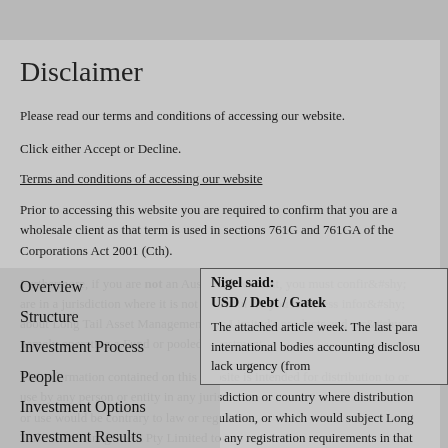Disclaimer
Please read our terms and conditions of accessing our website.
Click either Accept or Decline.
Terms and conditions of accessing our website
Prior to accessing this website you are required to confirm that you are a wholesale client as that term is used in sections 761G and 761GA of the Corporations Act 2001 (Cth).
Furthermore, if you are not an Australian resident, you must confirm you are in a jurisdiction where it is not unlawful for you to access information about Long Tail Asset Management Pty Limited's products and services, namely operating a Fund or pooled investment.
The information contained on this website is intended for distribution to or use by any person or entity in any jurisdiction or country where distribution or use would be contrary to law or regulation, or which would subject Long Tail Asset Management Pty Limited to any registration requirements in that jurisdiction or country.
Overview
Structure
Investment Process
People
Investment Options
Investment Results
Our View
Nigel said:
USD / Debt / Gatek
The attached article week. The last para international bodies accounting disclosu lack urgency (from